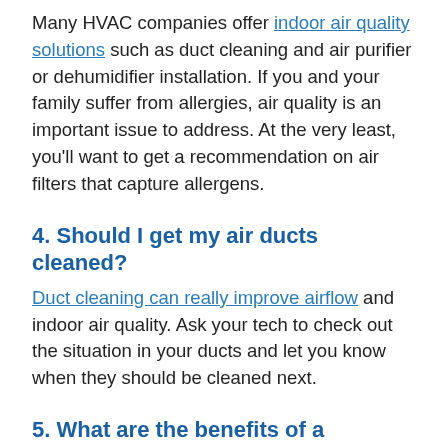Many HVAC companies offer indoor air quality solutions such as duct cleaning and air purifier or dehumidifier installation. If you and your family suffer from allergies, air quality is an important issue to address. At the very least, you'll want to get a recommendation on air filters that capture allergens.
4. Should I get my air ducts cleaned?
Duct cleaning can really improve airflow and indoor air quality. Ask your tech to check out the situation in your ducts and let you know when they should be cleaned next.
5. What are the benefits of a maintenance plan with the company?